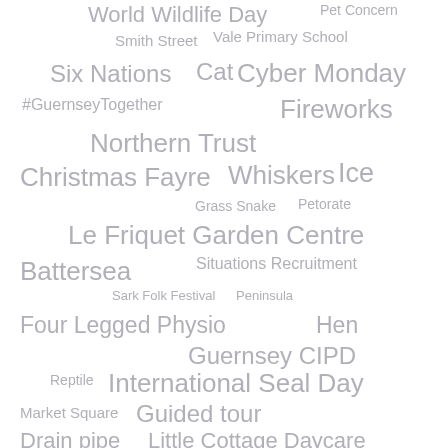[Figure (infographic): Word cloud containing various terms related to Guernsey events, animals, and organizations in varying font sizes, all in a grey color on white background. Terms include: World Wildlife Day, Pet Concern, Smith Street, Vale Primary School, Six Nations, Cat, Cyber Monday, #GuernseyTogether, Fireworks, Northern Trust, Christmas Fayre, Whiskers, Ice, Grass Snake, Petorate, Le Friquet Garden Centre, Battersea, Situations Recruitment, Sark Folk Festival, Peninsula, Four Legged Physio, Hen, Guernsey CIPD, Reptile, International Seal Day, Market Square, Guided tour, Drain pipe, Little Cottage Daycare, Natterer's Bat, Media, Grey Seal Jersey, and more.]